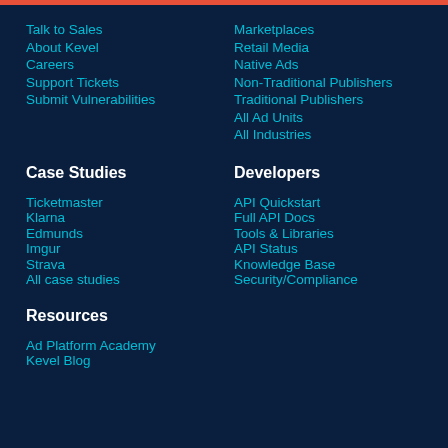Talk to Sales
About Kevel
Careers
Support Tickets
Submit Vulnerabilities
Marketplaces
Retail Media
Native Ads
Non-Traditional Publishers
Traditional Publishers
All Ad Units
All Industries
Case Studies
Developers
Ticketmaster
Klarna
Edmunds
Imgur
Strava
All case studies
API Quickstart
Full API Docs
Tools & Libraries
API Status
Knowledge Base
Security/Compliance
Resources
Ad Platform Academy
Kevel Blog